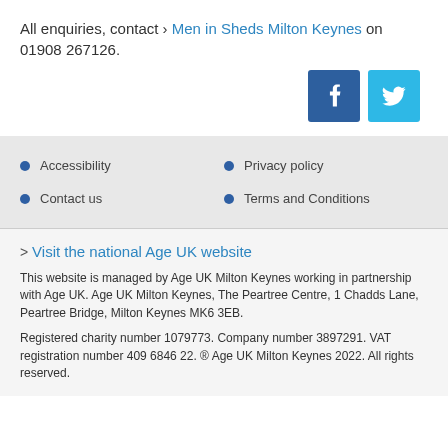All enquiries, contact > Men in Sheds Milton Keynes on 01908 267126.
[Figure (illustration): Facebook and Twitter social media icon buttons. Facebook icon is dark blue with white 'f', Twitter icon is light blue with white bird logo.]
Accessibility
Privacy policy
Contact us
Terms and Conditions
> Visit the national Age UK website
This website is managed by Age UK Milton Keynes working in partnership with Age UK. Age UK Milton Keynes, The Peartree Centre, 1 Chadds Lane, Peartree Bridge, Milton Keynes MK6 3EB.
Registered charity number 1079773. Company number 3897291. VAT registration number 409 6846 22. ® Age UK Milton Keynes 2022. All rights reserved.